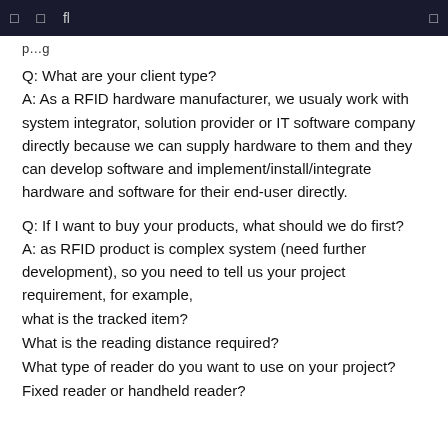□  □  fl  □
p...g
Q: What are your client type?
A: As a RFID hardware manufacturer, we usualy work with system integrator, solution provider or IT software company directly because we can supply hardware to them and they can develop software and implement/install/integrate hardware and software for their end-user directly.
Q: If I want to buy your products, what should we do first?
A: as RFID product is complex system (need further development), so you need to tell us your project requirement, for example,
what is the tracked item?
What is the reading distance required?
What type of reader do you want to use on your project?
Fixed reader or handheld reader?